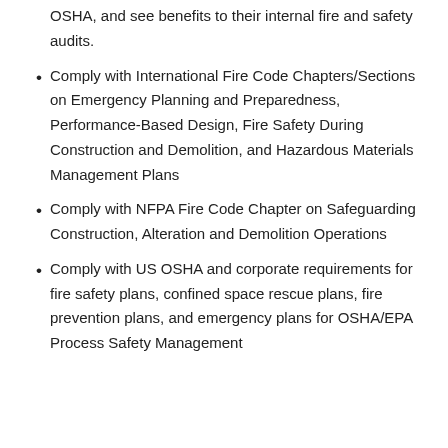OSHA, and see benefits to their internal fire and safety audits.
Comply with International Fire Code Chapters/Sections on Emergency Planning and Preparedness, Performance-Based Design, Fire Safety During Construction and Demolition, and Hazardous Materials Management Plans
Comply with NFPA Fire Code Chapter on Safeguarding Construction, Alteration and Demolition Operations
Comply with US OSHA and corporate requirements for fire safety plans, confined space rescue plans, fire prevention plans, and emergency plans for OSHA/EPA Process Safety Management